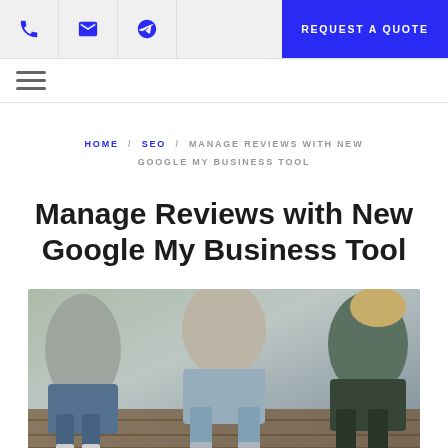REQUEST A QUOTE
HOME / SEO / MANAGE REVIEWS WITH NEW GOOGLE MY BUSINESS TOOL
Manage Reviews with New Google My Business Tool
[Figure (photo): Overhead view of people sitting together, showing their legs and feet on a wooden floor surface.]